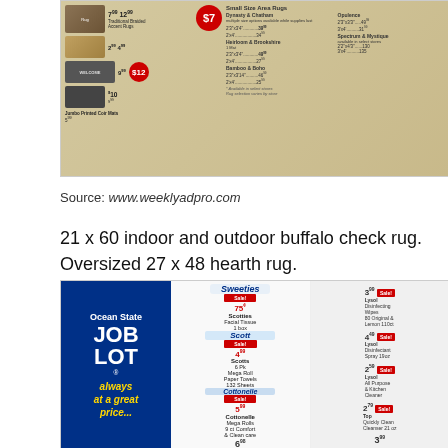[Figure (photo): Ocean State Job Lot weekly ad page showing area rugs including Traditional Braided Accent Rugs, Jumbo Printed Coir Mats, and Small Size Area Rugs with various prices. Features rug images and price listings for Dynasty, Chatham, Heirloom, Brookshire, Opulence, Spectrum, Mystique, Bamboo, and Boho collections.]
Source: www.weeklyadpro.com
21 x 60 indoor and outdoor buffalo check rug. Oversized 27 x 48 hearth rug.
[Figure (photo): Ocean State Job Lot weekly ad showing cleaning and paper products. Left section has blue logo with 'Ocean State JOB LOT always at a great price...' Scottie's Facial Tissue 75 cents, Scotts 6 Pk Mega Roll Paper Towels $4.99, Cottonelle Mega Rolls $5.99. Bottom price $6.98. Right side shows Lysol Disinfecting Wipes $3.99, Lysol Disinfectant Spray $4.49, Lysol All Purpose & Kitchen Cleaner $2.59, Top Quickly Clean Cleanser $2.79. Bottom price $3.99.]